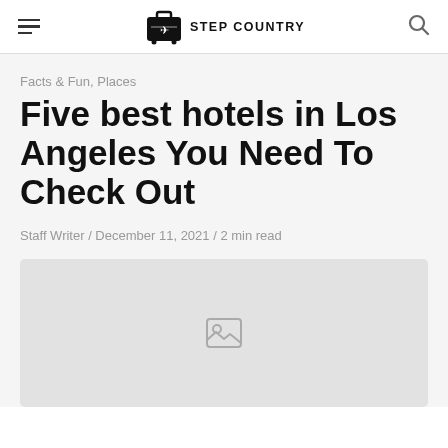STEP COUNTRY
Facts & Fun,  Places
Five best hotels in Los Angeles You Need To Check Out
Staff Writer / December 11, 2021 / 2 min read
[Figure (photo): Image placeholder for hotel photo]